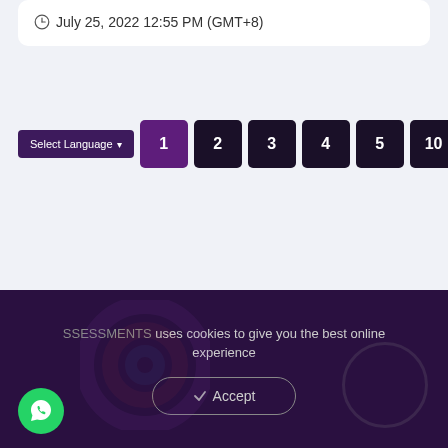July 25, 2022 12:55 PM (GMT+8)
[Figure (screenshot): Pagination control showing page buttons: 1 (active, purple), 2, 3, 4, 5, 10, and a next arrow button, along with a Select Language dropdown]
SSESSMENTS uses cookies to give you the best online experience
[Figure (other): Accept button with checkmark icon for cookie consent]
[Figure (other): WhatsApp floating button (green circle with WhatsApp icon)]